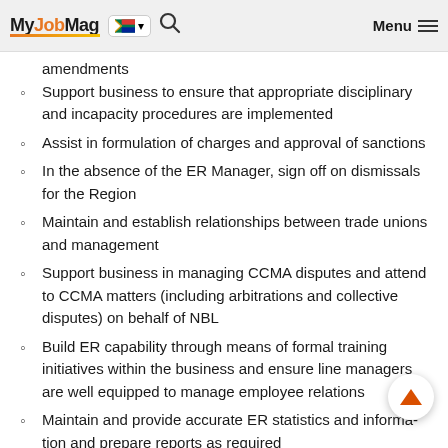MyJobMag [South Africa flag] Menu
amendments
Support business to ensure that appropriate disciplinary and incapacity procedures are implemented
Assist in formulation of charges and approval of sanctions
In the absence of the ER Manager, sign off on dismissals for the Region
Maintain and establish relationships between trade unions and management
Support business in managing CCMA disputes and attend to CCMA matters (including arbitrations and collective disputes) on behalf of NBL
Build ER capability through means of formal training initiatives within the business and ensure line managers are well equipped to manage employee relations
Maintain and provide accurate ER statistics and information and prepare reports as required